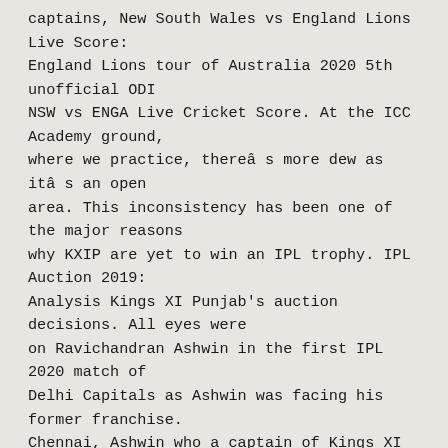captains, New South Wales vs England Lions Live Score: England Lions tour of Australia 2020 5th unofficial ODI NSW vs ENGA Live Cricket Score. At the ICC Academy ground, where we practice, thereâ s more dew as itâ s an open area. This inconsistency has been one of the major reasons why KXIP are yet to win an IPL trophy. IPL Auction 2019: Analysis Kings XI Punjab's auction decisions. All eyes were on Ravichandran Ashwin in the first IPL 2020 match of Delhi Capitals as Ashwin was facing his former franchise. Chennai, Ashwin who a captain of Kings XI Punjab for the last couple of seasons was traded to DC ahead of the IPL 2020 auction. https://www.hindustantimes.com/cricket/ipl-2020-auctions-kings-xi-punjab-announces-skipper-for-upcoming-season/story-3SBtZ08OnQqO7GGHZb38SN.html, IPL 2020 Auctions:â  Kings XIâ  Punjab announce skipper for upcoming season, https://www.hindustantimes.com/cricket/india-vs-australia-in-david-warner-s-absence-he-could-provide-some-experience-darren-lehmann-says-aussies-should-stick-with-joe-burns/story-qKUPlnIR8lhkCMcfSMCS1H.html, â  Burns can provide